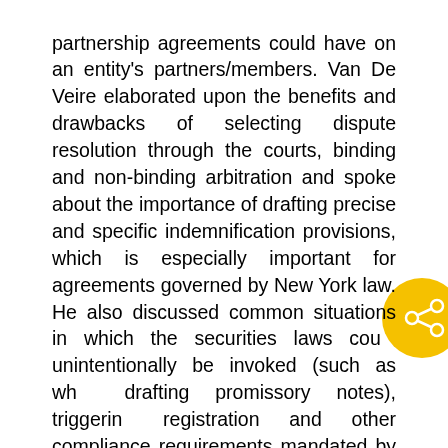partnership agreements could have on an entity's partners/members. Van De Veire elaborated upon the benefits and drawbacks of selecting dispute resolution through the courts, binding and non-binding arbitration and spoke about the importance of drafting precise and specific indemnification provisions, which is especially important for agreements governed by New York law. He also discussed common situations in which the securities laws could unintentionally be invoked (such as when drafting promissory notes), triggering registration and other compliance requirements mandated by securities laws.
In addition to facilitating the panel discussion, Garcia — a forensic accountant who, for almost 10 years, has provided litigation support services for a diverse array of matters spanning